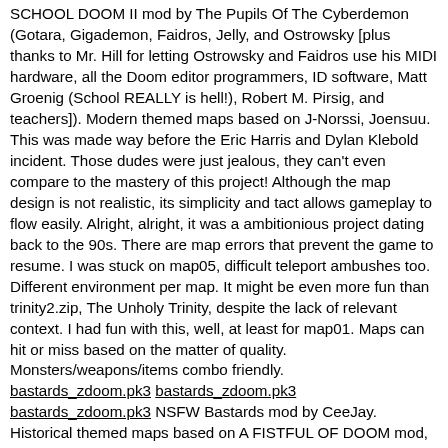SCHOOL DOOM II mod by The Pupils Of The Cyberdemon (Gotara, Gigademon, Faidros, Jelly, and Ostrowsky [plus thanks to Mr. Hill for letting Ostrowsky and Faidros use his MIDI hardware, all the Doom editor programmers, ID software, Matt Groenig (School REALLY is hell!), Robert M. Pirsig, and teachers]). Modern themed maps based on J-Norssi, Joensuu. This was made way before the Eric Harris and Dylan Klebold incident. Those dudes were just jealous, they can't even compare to the mastery of this project! Although the map design is not realistic, its simplicity and tact allows gameplay to flow easily. Alright, alright, it was a ambitionious project dating back to the 90s. There are map errors that prevent the game to resume. I was stuck on map05, difficult teleport ambushes too. Different environment per map. It might be even more fun than trinity2.zip, The Unholy Trinity, despite the lack of relevant context. I had fun with this, well, at least for map01. Maps can hit or miss based on the matter of quality. Monsters/weapons/items combo friendly.
bastards_zdoom.pk3 bastards_zdoom.pk3 bastards_zdoom.pk3 NSFW Bastards mod by CeeJay. Historical themed maps based on A FISTFUL OF DOOM mod, Outlaws title, Heretic title, and one ww39b manga (NSFW, lol) references. Better than fistful3.zip? Well, definitely more stuff and maps. It's more campy than the "A Fistful of Dollars" movie themed mod; that means it's a bit more colorful, with jarring graphics colliding. It is even more blatant in its NSFW material. We are talking about actors, not paintings on textures (although it got some pretty adulaterated things [not always paintings] on its own textures). Obvious display is at the